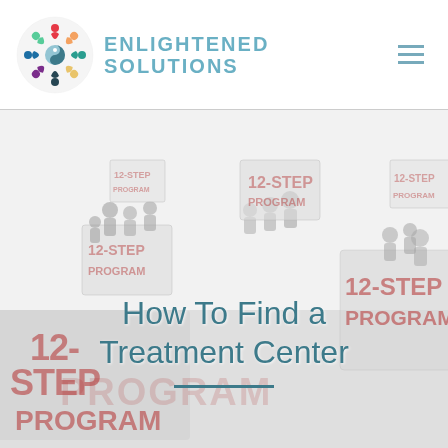[Figure (logo): Enlightened Solutions logo with colorful circular emblem of figures and the text ENLIGHTENED SOLUTIONS in teal/blue]
[Figure (photo): Background image showing groups of grey figurines holding 12-STEP PROGRAM signs, washed out/faded]
How To Find a Treatment Center